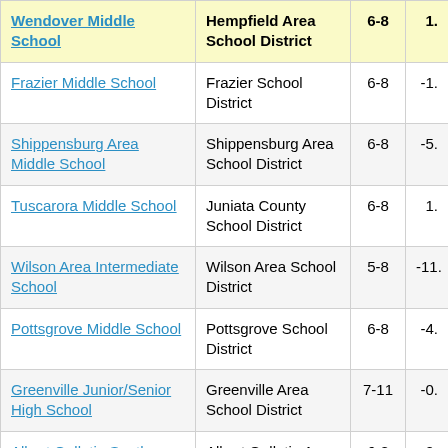| School Name | District | Grades | Value |
| --- | --- | --- | --- |
| Wendover Middle School | Hempfield Area School District | 6-8 | 1. |
| Frazier Middle School | Frazier School District | 6-8 | -1. |
| Shippensburg Area Middle School | Shippensburg Area School District | 6-8 | -5. |
| Tuscarora Middle School | Juniata County School District | 6-8 | 1. |
| Wilson Area Intermediate School | Wilson Area School District | 5-8 | -11. |
| Pottsgrove Middle School | Pottsgrove School District | 6-8 | -4. |
| Greenville Junior/Senior High School | Greenville Area School District | 7-11 | -0. |
| Albert Gallatin South Middle School | Albert Gallatin Area School District | 6-8 | -0. |